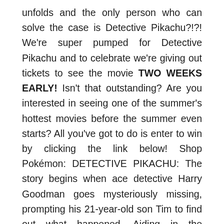unfolds and the only person who can solve the case is Detective Pikachu?!?! We're super pumped for Detective Pikachu and to celebrate we're giving out tickets to see the movie TWO WEEKS EARLY! Isn't that outstanding? Are you interested in seeing one of the summer's hottest movies before the summer even starts? All you've got to do is enter to win by clicking the link below! Shop Pokémon: DETECTIVE PIKACHU: The story begins when ace detective Harry Goodman goes mysteriously missing, prompting his 21-year-old son Tim to find out what happened. Aiding in the investigation is Harry's former Pokémon partner, Detective Pikachu: a hilariously wise-cracking, adorable super-sleuth who is a puzzlement even to himself. Finding that they are uniquely equipped to communicate with one another, Tim